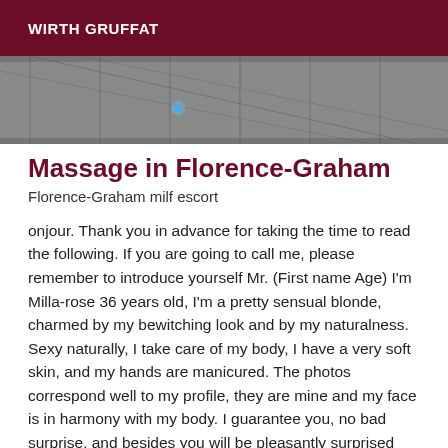WIRTH GRUFFAT
[Figure (photo): Close-up photo of grey wooden decking/roof shingles with diagonal lines, small blue light visible]
Massage in Florence-Graham
Florence-Graham milf escort
onjour. Thank you in advance for taking the time to read the following. If you are going to call me, please remember to introduce yourself Mr. (First name Age) I'm Milla-rose 36 years old, I'm a pretty sensual blonde, charmed by my bewitching look and by my naturalness. Sexy naturally, I take care of my body, I have a very soft skin, and my hands are manicured. The photos correspond well to my profile, they are mine and my face is in harmony with my body. I guarantee you, no bad surprise, and besides you will be pleasantly surprised from the first glance. For a pleasant and perfect getaway for two, a true sharing of quality, I will be listening to you and your expectations, so that the meeting and the